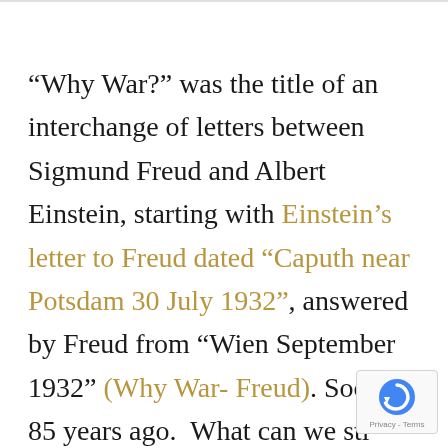“Why War?” was the title of an interchange of letters between Sigmund Freud and Albert Einstein, starting with Einstein’s letter to Freud dated “Caputh near Potsdam 30 July 1932”, answered by Freud from “Wien September 1932” (Why War- Freud). Soon 85 years ago. What can we still learn from these giants, and what
[Figure (other): reCAPTCHA badge with blue circular arrow icon and Privacy - Terms text]